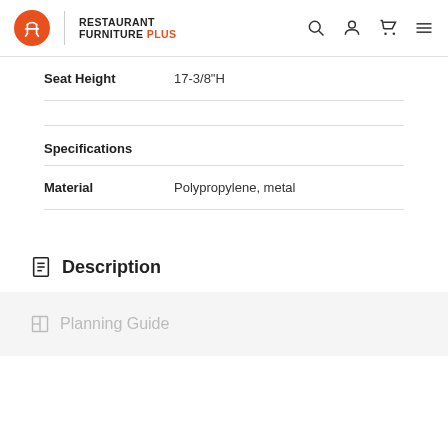RESTAURANT FURNITURE PLUS
| Label | Value |
| --- | --- |
| Seat Height | 17-3/8"H |
|  |  |
| Specifications |  |
| Material | Polypropylene, metal |
Description
Planning Guide